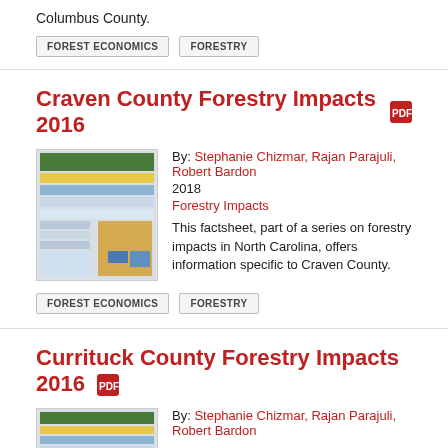Columbus County.
FOREST ECONOMICS
FORESTRY
Craven County Forestry Impacts 2016
By: Stephanie Chizmar, Rajan Parajuli, Robert Bardon
2018
Forestry Impacts
This factsheet, part of a series on forestry impacts in North Carolina, offers information specific to Craven County.
FOREST ECONOMICS
FORESTRY
Currituck County Forestry Impacts 2016
By: Stephanie Chizmar, Rajan Parajuli, Robert Bardon